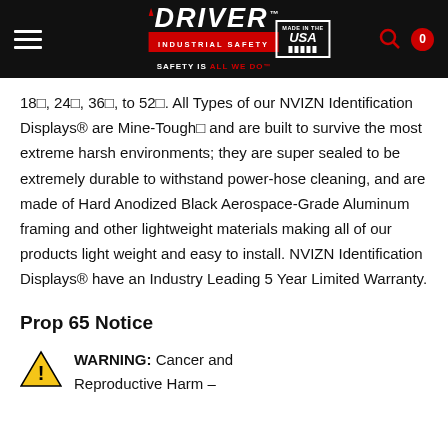DRIVER INDUSTRIAL SAFETY — SAFETY IS ALL WE DO™ | Made in the USA | Search | Cart
18☐, 24☐, 36☐, to 52☐. All Types of our NVIZN Identification Displays® are Mine-Tough☐ and are built to survive the most extreme harsh environments; they are super sealed to be extremely durable to withstand power-hose cleaning, and are made of Hard Anodized Black Aerospace-Grade Aluminum framing and other lightweight materials making all of our products light weight and easy to install. NVIZN Identification Displays® have an Industry Leading 5 Year Limited Warranty.
Prop 65 Notice
WARNING: Cancer and Reproductive Harm –